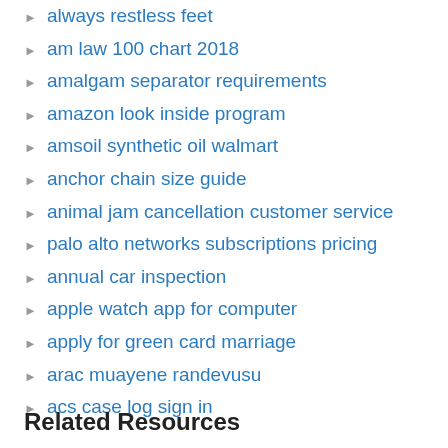always restless feet
am law 100 chart 2018
amalgam separator requirements
amazon look inside program
amsoil synthetic oil walmart
anchor chain size guide
animal jam cancellation customer service
palo alto networks subscriptions pricing
annual car inspection
apple watch app for computer
apply for green card marriage
arac muayene randevusu
acs case log sign in
Related Resources